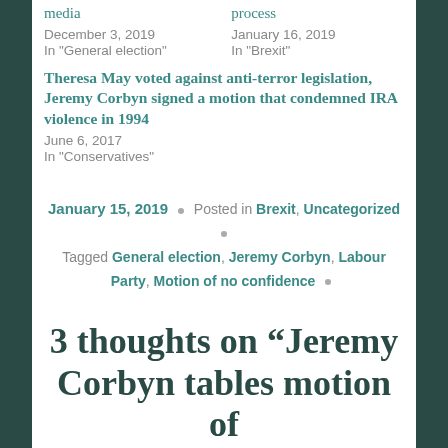media
process
December 3, 2019
January 16, 2019
In "General election"
In "Brexit"
Theresa May voted against anti-terror legislation, Jeremy Corbyn signed a motion that condemned IRA violence in 1994
June 6, 2017
In "Conservatives"
January 15, 2019 · Posted in Brexit, Uncategorized · Tagged General election, Jeremy Corbyn, Labour Party, Motion of no confidence ·
3 thoughts on “Jeremy Corbyn tables motion of